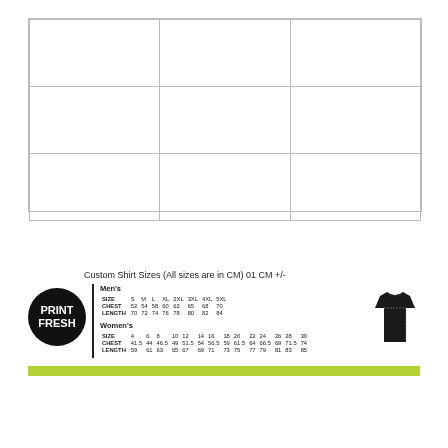[Figure (other): 3x3 grid of empty rectangular cells forming a template/placeholder layout]
Custom Shirt Sizes (All sizes are in CM) 01 CM +/-
[Figure (logo): PRINT FRESH logo in white text on black circle]
| SIZE | S | M | L | XL | 2XL | 3XL | 4XL | 5XL |
| --- | --- | --- | --- | --- | --- | --- | --- | --- |
| CHEST | 52 | 54 | 58 | 60 | 62 | 65 | 68 | 70 |
| LENGTH | 70 | 72 | 74 | 76 | 78 | 80 | 82 | 84 |
| SIZE | 4 | 6 | 8 | 10 | 12 | 14 | 16 | 18 | 20 | 22 | 24 | 26 | 28 | 30 |
| --- | --- | --- | --- | --- | --- | --- | --- | --- | --- | --- | --- | --- | --- | --- |
| CHEST | 41.5 | 44 | 46.5 | 49 | 51.5 | 54 | 56.5 | 59 | 61.5 | 64 | 66.5 | 69 | 71.5 | 74 |
| LENGTH | 59 | 61 | 63 | 65 | 67 | 69 | 71 | 73 | 75 | 77 | 79 | 81 | 83 | 85 |
[Figure (illustration): Black polo shirt with measurement lines indicating chest and length]
[Figure (other): Lime green horizontal bar]